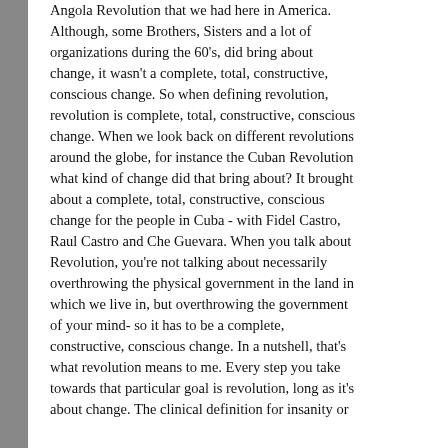Angola Revolution that we had here in America. Although, some Brothers, Sisters and a lot of organizations during the 60's, did bring about change, it wasn't a complete, total, constructive, conscious change. So when defining revolution, revolution is complete, total, constructive, conscious change. When we look back on different revolutions around the globe, for instance the Cuban Revolution what kind of change did that bring about? It brought about a complete, total, constructive, conscious change for the people in Cuba - with Fidel Castro, Raul Castro and Che Guevara. When you talk about Revolution, you're not talking about necessarily overthrowing the physical government in the land in which we live in, but overthrowing the government of your mind- so it has to be a complete, constructive, conscious change. In a nutshell, that's what revolution means to me. Every step you take towards that particular goal is revolution, long as it's about change. The clinical definition for insanity or